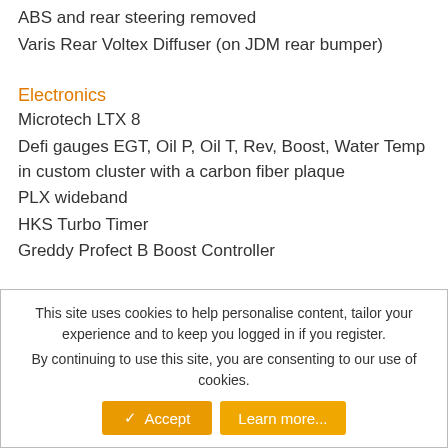ABS and rear steering removed
Varis Rear Voltex Diffuser (on JDM rear bumper)
Electronics
Microtech LTX 8
Defi gauges EGT, Oil P, Oil T, Rev, Boost, Water Temp in custom cluster with a carbon fiber plaque
PLX wideband
HKS Turbo Timer
Greddy Profect B Boost Controller
This site uses cookies to help personalise content, tailor your experience and to keep you logged in if you register.
By continuing to use this site, you are consenting to our use of cookies.